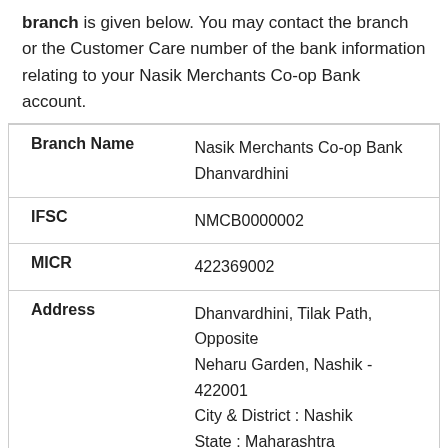branch is given below. You may contact the branch or the Customer Care number of the bank information relating to your Nasik Merchants Co-op Bank account.
| Field | Value |
| --- | --- |
| Branch Name | Nasik Merchants Co-op Bank Dhanvardhini |
| IFSC | NMCB0000002 |
| MICR | 422369002 |
| Address | Dhanvardhini, Tilak Path, Opposite Neharu Garden, Nashik - 422001 City & District : Nashik State : Maharashtra |
| Branch Phone Number | 2308217 |